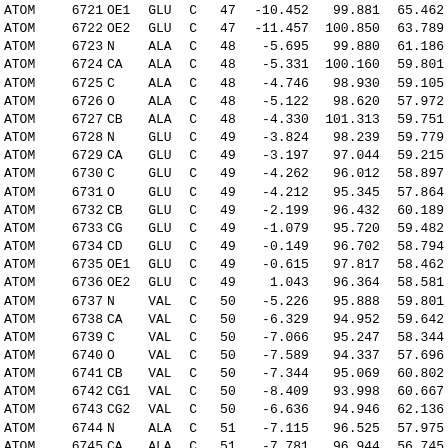| Record | Serial | Name | ResName | Chain | ResSeq | X | Y | Z |
| --- | --- | --- | --- | --- | --- | --- | --- | --- |
| ATOM | 6721 | OE1 | GLU | C | 47 | -10.452 | 99.881 | 65.462 |
| ATOM | 6722 | OE2 | GLU | C | 47 | -11.457 | 100.850 | 63.789 |
| ATOM | 6723 | N | ALA | C | 48 | -5.695 | 99.880 | 61.186 |
| ATOM | 6724 | CA | ALA | C | 48 | -5.331 | 100.160 | 59.801 |
| ATOM | 6725 | C | ALA | C | 48 | -4.746 | 98.930 | 59.105 |
| ATOM | 6726 | O | ALA | C | 48 | -5.122 | 98.620 | 57.972 |
| ATOM | 6727 | CB | ALA | C | 48 | -4.330 | 101.313 | 59.751 |
| ATOM | 6728 | N | GLU | C | 49 | -3.824 | 98.239 | 59.779 |
| ATOM | 6729 | CA | GLU | C | 49 | -3.197 | 97.044 | 59.215 |
| ATOM | 6730 | C | GLU | C | 49 | -4.262 | 96.012 | 58.897 |
| ATOM | 6731 | O | GLU | C | 49 | -4.212 | 95.345 | 57.864 |
| ATOM | 6732 | CB | GLU | C | 49 | -2.199 | 96.432 | 60.189 |
| ATOM | 6733 | CG | GLU | C | 49 | -1.079 | 95.720 | 59.482 |
| ATOM | 6734 | CD | GLU | C | 49 | -0.149 | 96.702 | 58.794 |
| ATOM | 6735 | OE1 | GLU | C | 49 | -0.615 | 97.817 | 58.462 |
| ATOM | 6736 | OE2 | GLU | C | 49 | 1.043 | 96.364 | 58.581 |
| ATOM | 6737 | N | VAL | C | 50 | -5.226 | 95.888 | 59.801 |
| ATOM | 6738 | CA | VAL | C | 50 | -6.329 | 94.952 | 59.642 |
| ATOM | 6739 | C | VAL | C | 50 | -7.066 | 95.247 | 58.344 |
| ATOM | 6740 | O | VAL | C | 50 | -7.589 | 94.337 | 57.696 |
| ATOM | 6741 | CB | VAL | C | 50 | -7.344 | 95.069 | 60.802 |
| ATOM | 6742 | CG1 | VAL | C | 50 | -8.409 | 93.998 | 60.667 |
| ATOM | 6743 | CG2 | VAL | C | 50 | -6.636 | 94.946 | 62.136 |
| ATOM | 6744 | N | ALA | C | 51 | -7.115 | 96.525 | 57.975 |
| ATOM | 6745 | CA | ALA | C | 51 | -7.781 | 96.944 | 56.745 |
| ATOM | 6746 | C | ALA | C | 51 | -6.971 | 96.452 | 55.554 |
| ATOM | 6747 | O | ALA | C | 51 | -7.531 | 95.991 | 54.561 |
| ATOM | 6748 | CB | ALA | C | 51 | -7.900 | 98.462 | 56.705 |
| ATOM | 6749 | N | ARG | C | 52 | -5.649 | 96.564 | 55.667 |
| ATOM | 6750 | CA | ARG | C | 52 | -4.738 | 96.120 | 54.622 |